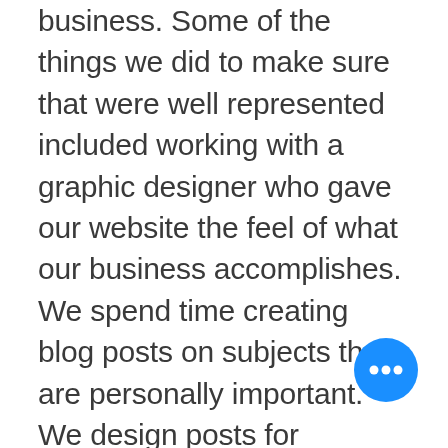business. Some of the things we did to make sure that were well represented included working with a graphic designer who gave our website the feel of what our business accomplishes. We spend time creating blog posts on subjects that are personally important. We design posts for Facebook, LinkedIn, and Instagram that represent our desire to share about behavioral health, highlight our services, and allow us to connect with others. Don't skimp on parts of your business that may end up being the first introduction people have to your business. Likewise, stay true to your v... It could be easy to start maki... decisions that bring you away...